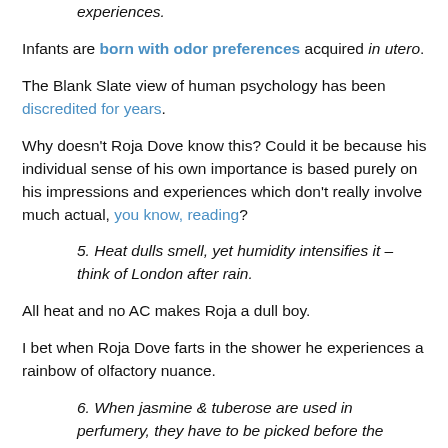sense of smell is based purely on impressions and experiences.
Infants are born with odor preferences acquired in utero.
The Blank Slate view of human psychology has been discredited for years.
Why doesn't Roja Dove know this? Could it be because his individual sense of his own importance is based purely on his impressions and experiences which don't really involve much actual, you know, reading?
5. Heat dulls smell, yet humidity intensifies it – think of London after rain.
All heat and no AC makes Roja a dull boy.
I bet when Roja Dove farts in the shower he experiences a rainbow of olfactory nuance.
6. When jasmine & tuberose are used in perfumery, they have to be picked before the sunlight hits them.